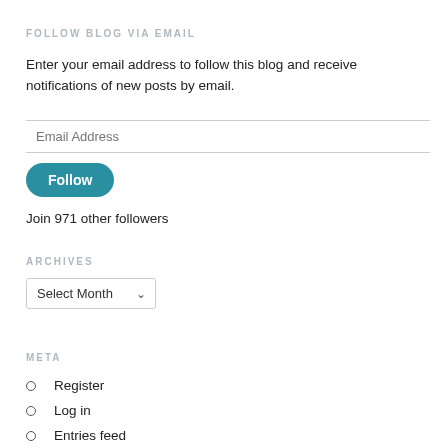FOLLOW BLOG VIA EMAIL
Enter your email address to follow this blog and receive notifications of new posts by email.
Email Address
Follow
Join 971 other followers
ARCHIVES
Select Month
META
Register
Log in
Entries feed
Comments feed